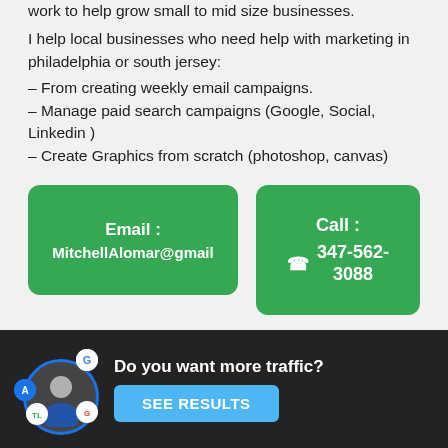work to help grow small to mid size businesses.
I help local businesses who need help with marketing in philadelphia or south jersey:
– From creating weekly email campaigns.
– Manage paid search campaigns (Google, Social, Linkedin )
– Create Graphics from scratch (photoshop, canvas)
Email : MitchellAlomar@gmail
Call : 347-562-3088
Related Blogs
Do you want more traffic?
SEE RESULTS